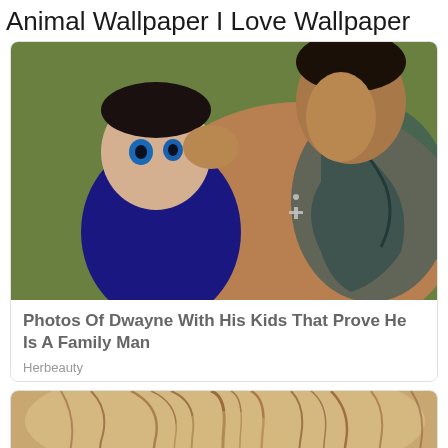Animal Wallpaper I Love Wallpaper
[Figure (photo): A tattooed muscular man (Dwayne Johnson) kissing a baby with blue eyes dressed in a dark outfit, against a green background]
Photos Of Dwayne With His Kids That Prove He Is A Family Man
Herbeauty
[Figure (photo): Close-up top view of a person's head showing thinning/sparse reddish-brown hair against a beige background]